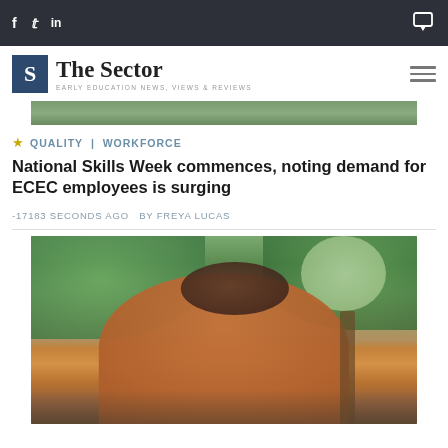f  twitter  in  [comment icon]
[Figure (logo): The Sector logo — S box with 'The Sector' and 'EARLY EDUCATION NEWS, VIEWS & REVIEWS' tagline]
[Figure (photo): Top portion of an outdoor photo, green foliage background]
QUALITY | WORKFORCE
National Skills Week commences, noting demand for ECEC employees is surging
-17183 SECONDS AGO  BY FREYA LUCAS
[Figure (photo): Child in an orange hoodie seen from behind, looking through binoculars or similar, outdoors with green trees and wooden railing in background]